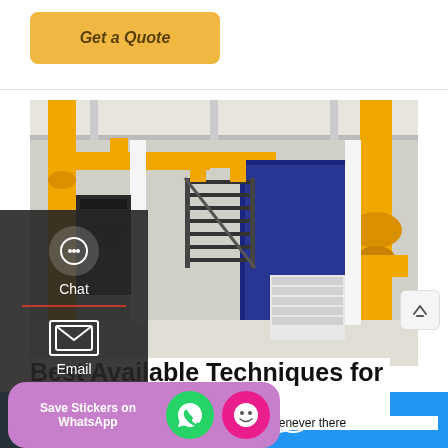[Figure (other): Button: Get a Quote with golden/yellow rounded rectangle background]
[Figure (photo): Industrial facility interior showing large yellow pipes, blue industrial boiler/equipment, metal staircases, and white warehouse space]
Best Available Techniques for Pulverised - GOV.UK
the risk assessments whenever there
[Figure (other): WhatsApp sticker save popup with purple background, green WhatsApp icon and pink emoji icon]
[Figure (other): Bottom navigation bar with Leave Message and OnlineChat buttons on blue background]